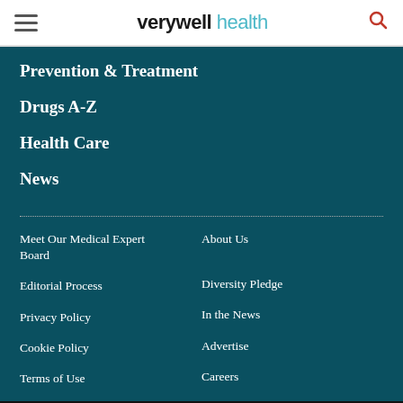verywell health
Prevention & Treatment
Drugs A-Z
Health Care
News
Meet Our Medical Expert Board
About Us
Editorial Process
Diversity Pledge
Privacy Policy
In the News
Cookie Policy
Advertise
Terms of Use
Careers
We help people find answers, solve problems and get inspired. Dotdash meredith